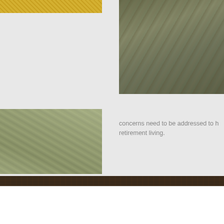[Figure (photo): Partial view of a photo showing yellow/golden tones, top-left area, cropped]
[Figure (photo): Aerial or close-up photo of water/rocky surface with dark greenish-grey tones]
[Figure (photo): Close-up photo of folded fabric or clothing in olive/khaki tones]
concerns need to be addressed to help ensure retirement living.
Articles | Calculators | Presentations | Videos
Who Is Your Trusted Contact?